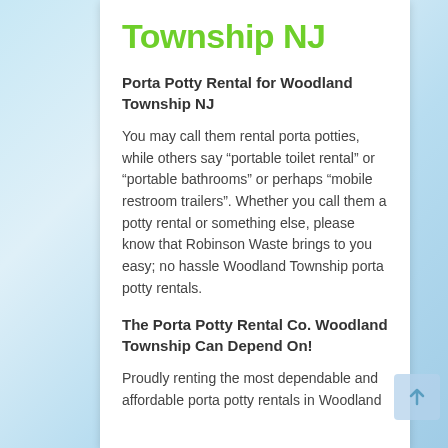Township NJ
Porta Potty Rental for Woodland Township NJ
You may call them rental porta potties, while others say “portable toilet rental” or “portable bathrooms” or perhaps “mobile restroom trailers”. Whether you call them a potty rental or something else, please know that Robinson Waste brings to you easy; no hassle Woodland Township porta potty rentals.
The Porta Potty Rental Co. Woodland Township Can Depend On!
Proudly renting the most dependable and affordable porta potty rentals in Woodland